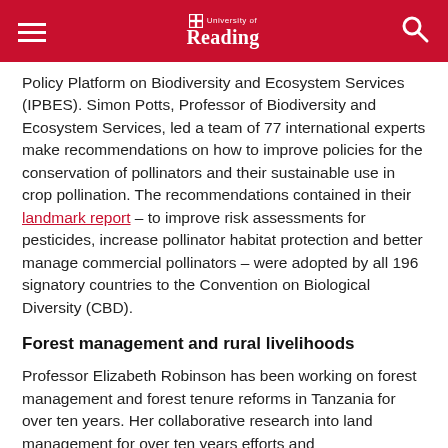University of Reading
Policy Platform on Biodiversity and Ecosystem Services (IPBES). Simon Potts, Professor of Biodiversity and Ecosystem Services, led a team of 77 international experts make recommendations on how to improve policies for the conservation of pollinators and their sustainable use in crop pollination. The recommendations contained in their landmark report – to improve risk assessments for pesticides, increase pollinator habitat protection and better manage commercial pollinators – were adopted by all 196 signatory countries to the Convention on Biological Diversity (CBD).
Forest management and rural livelihoods
Professor Elizabeth Robinson has been working on forest management and forest tenure reforms in Tanzania for over ten years. Her collaborative research into land management for over ten years efforts and